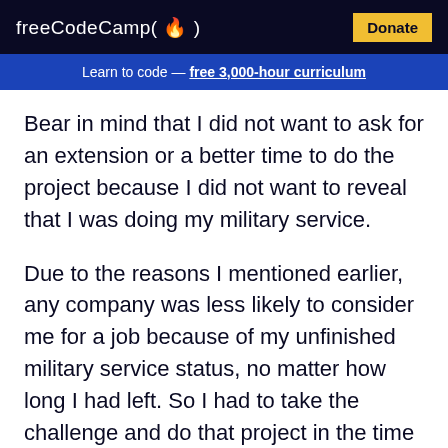freeCodeCamp(🔥) Donate
Learn to code — free 3,000-hour curriculum
Bear in mind that I did not want to ask for an extension or a better time to do the project because I did not want to reveal that I was doing my military service.
Due to the reasons I mentioned earlier, any company was less likely to consider me for a job because of my unfinished military service status, no matter how long I had left. So I had to take the challenge and do that project in the time provided.